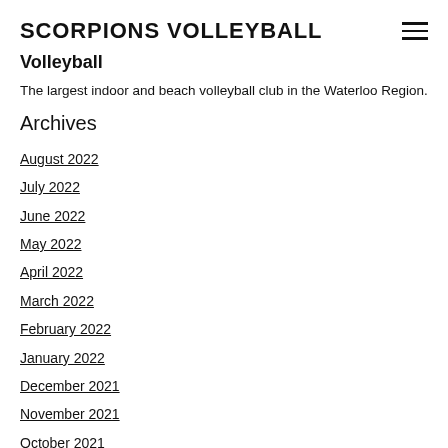SCORPIONS VOLLEYBALL
Volleyball
The largest indoor and beach volleyball club in the Waterloo Region.
Archives
August 2022
July 2022
June 2022
May 2022
April 2022
March 2022
February 2022
January 2022
December 2021
November 2021
October 2021
September 2021